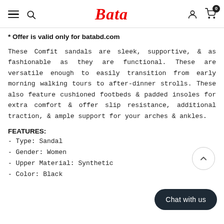Bata
* Offer is valid only for batabd.com
These Comfit sandals are sleek, supportive, & as fashionable as they are functional. These are versatile enough to easily transition from early morning walking tours to after-dinner strolls. These also feature cushioned footbeds & padded insoles for extra comfort & offer slip resistance, additional traction, & ample support for your arches & ankles.
FEATURES:
- Type: Sandal
- Gender: Women
- Upper Material: Synthetic
- Color: Black